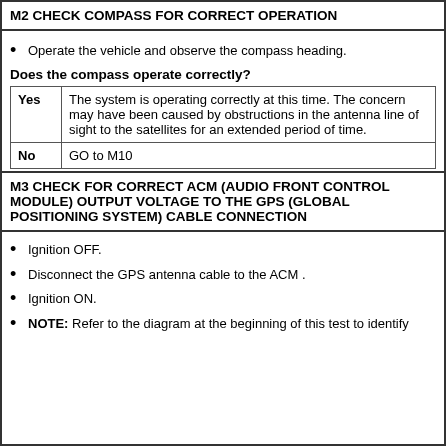M2 CHECK COMPASS FOR CORRECT OPERATION
Operate the vehicle and observe the compass heading.
Does the compass operate correctly?
|  |  |
| --- | --- |
| Yes | The system is operating correctly at this time. The concern may have been caused by obstructions in the antenna line of sight to the satellites for an extended period of time. |
| No | GO to M10 |
M3 CHECK FOR CORRECT ACM (AUDIO FRONT CONTROL MODULE) OUTPUT VOLTAGE TO THE GPS (GLOBAL POSITIONING SYSTEM) CABLE CONNECTION
Ignition OFF.
Disconnect the GPS antenna cable to the ACM .
Ignition ON.
NOTE: Refer to the diagram at the beginning of this test to identify